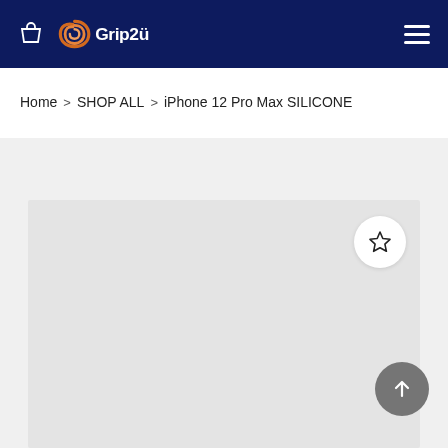Grip2ü
Home > SHOP ALL > iPhone 12 Pro Max SILICONE
[Figure (other): Product image placeholder area (gray rectangle) for iPhone 12 Pro Max SILICONE case, with a wishlist star icon button in the top-right corner and a scroll-to-top arrow button at the bottom-right]